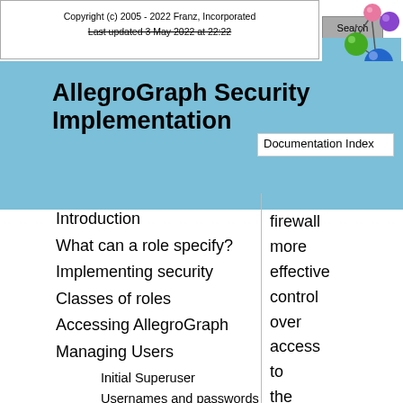Copyright (c) 2005 - 2022 Franz, Incorporated
Last updated 3 May 2022 at 22:22
AllegroGraph Security Implementation
[Figure (illustration): Franz Inc. logo with colored spheres (pink, purple, green, blue) connected by lines on a teal background]
Documentation Index
Introduction
What can a role specify?
Implementing security
Classes of roles
Accessing AllegroGraph
Managing Users
Initial Superuser
Usernames and passwords
User passwords
Other restrictions on users
Email notification of certain changes to user status
Ports
firewall more effective control over access to the AllegroGraph server, we recommend specifying a SessionPorts